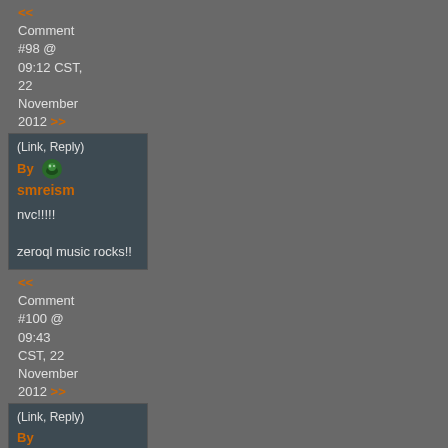<< Comment #98 @ 09:12 CST, 22 November 2012 >>
(Link, Reply) By smreism
nvc!!!!!

zeroql music rocks!!
<< Comment #100 @ 09:43 CST, 22 November 2012 >>
(Link, Reply) By gigan- Reply to